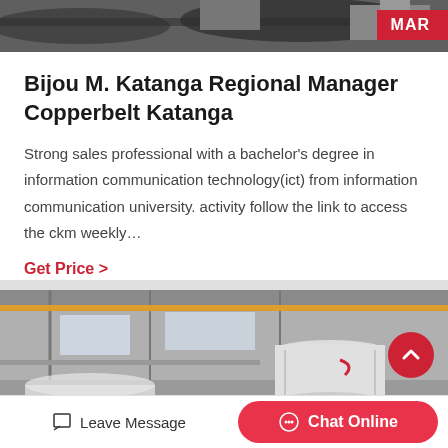[Figure (photo): Top partial photo of industrial/mining equipment on dark background]
Bijou M. Katanga Regional Manager Copperbelt Katanga
Strong sales professional with a bachelor's degree in information communication technology(ict) from information communication university. activity follow the link to access the ckm weekly…
Get Price  >
[Figure (photo): Interior of industrial factory/warehouse with large white cylindrical equipment and overhead crane]
Leave Message
Chat Online